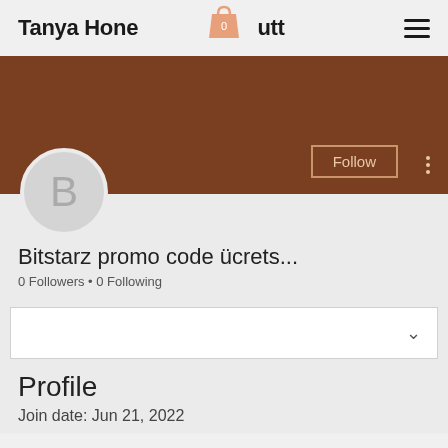Tanya Honeycutt
[Figure (illustration): User profile cover banner in brown/chocolate color with Follow button and three-dot menu, and a circular avatar with letter B]
Bitstarz promo code ücrets...
0 Followers • 0 Following
Profile
Join date: Jun 21, 2022